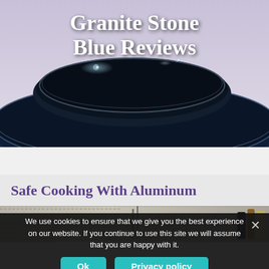[Figure (photo): Header image of dark blue/black granite stone cookware pans stacked, viewed from above and side, with blue rim visible. Title text 'Granite Stone Blue Reviews' overlaid in white serif font.]
Granite Stone Blue Reviews
Safe Cooking With Aluminum
[Figure (photo): Partial kitchen scene showing utensils and bottles on a counter, partially obscured by cookie consent banner.]
We use cookies to ensure that we give you the best experience on our website. If you continue to use this site we will assume that you are happy with it.